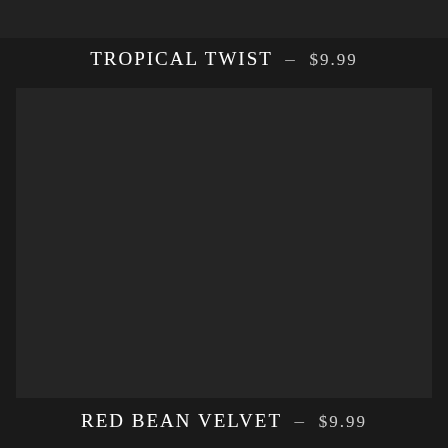[Figure (photo): Dark strip at top of page, partial product image]
TROPICAL TWIST — $9.99
[Figure (photo): Large dark square product image block in the center of the page]
RED BEAN VELVET — $9.99